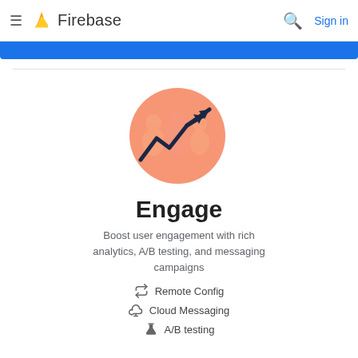Firebase — Sign in
[Figure (illustration): Firebase Engage illustration: salmon/coral circle with silhouettes of people and an upward trending arrow/zigzag line chart in dark navy]
Engage
Boost user engagement with rich analytics, A/B testing, and messaging campaigns
Remote Config
Cloud Messaging
A/B testing